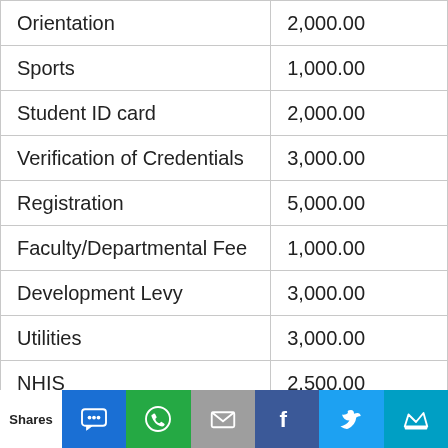| Orientation | 2,000.00 |
| Sports | 1,000.00 |
| Student ID card | 2,000.00 |
| Verification of Credentials | 3,000.00 |
| Registration | 5,000.00 |
| Faculty/Departmental Fee | 1,000.00 |
| Development Levy | 3,000.00 |
| Utilities | 3,000.00 |
| NHIS | 2,500.00 |
| Academic Gown | 2,000.00 |
| Environment | 1,000.00 |
Shares | SMS | WhatsApp | Email | Facebook | Twitter | Crown